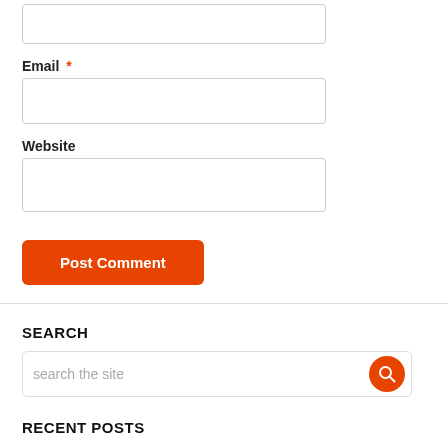[Figure (screenshot): Top of page showing a partially visible input field (text area, cropped at top)]
Email *
[Figure (screenshot): Email input field, empty, with border]
Website
[Figure (screenshot): Website input field, empty, with border]
Post Comment
SEARCH
search the site
RECENT POSTS